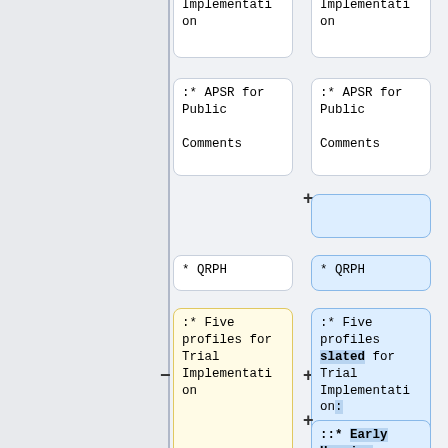:* APSR for Public Comments (left column, top)
:* APSR for Public Comments (right column, top)
* QRPH (left column)
* QRPH (right column)
:* Five profiles for Trial Implementation (left column, yellow)
:* Five profiles slated for Trial Implementation: (right column, blue)
::* Early Hearing Detection and Intervention (EHDI) (right column, blue, bold)